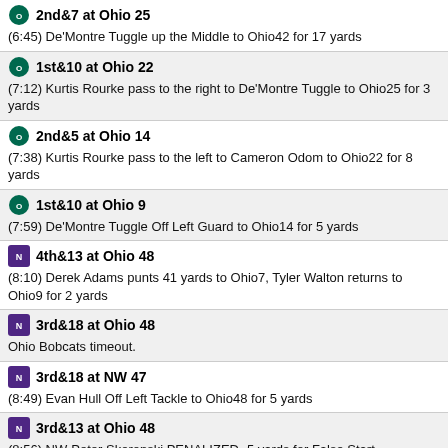2nd&7 at Ohio 25
(6:45) De'Montre Tuggle up the Middle to Ohio42 for 17 yards
1st&10 at Ohio 22
(7:12) Kurtis Rourke pass to the right to De'Montre Tuggle to Ohio25 for 3 yards
2nd&5 at Ohio 14
(7:38) Kurtis Rourke pass to the left to Cameron Odom to Ohio22 for 8 yards
1st&10 at Ohio 9
(7:59) De'Montre Tuggle Off Left Guard to Ohio14 for 5 yards
4th&13 at Ohio 48
(8:10) Derek Adams punts 41 yards to Ohio7, Tyler Walton returns to Ohio9 for 2 yards
3rd&18 at Ohio 48
Ohio Bobcats timeout.
3rd&18 at NW 47
(8:49) Evan Hull Off Left Tackle to Ohio48 for 5 yards
3rd&13 at Ohio 48
(8:56) NW-Peter Skoronski PENALIZED -5 yards for False Start
2nd&11 at Ohio 46
(9:27) Ryan Hilinski pass to the left to Bryce Kirtz to Ohio48 for -2 yards
1st&10 at Ohio 45
(10:06) Evan Hull Off Right End to Ohio46 for -1 yards